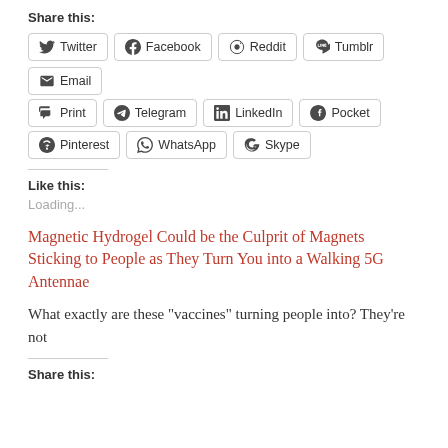Share this:
Twitter
Facebook
Reddit
Tumblr
Email
Print
Telegram
LinkedIn
Pocket
Pinterest
WhatsApp
Skype
Like this:
Loading...
Magnetic Hydrogel Could be the Culprit of Magnets Sticking to People as They Turn You into a Walking 5G Antennae
What exactly are these “vaccines” turning people into? They’re not
Share this: